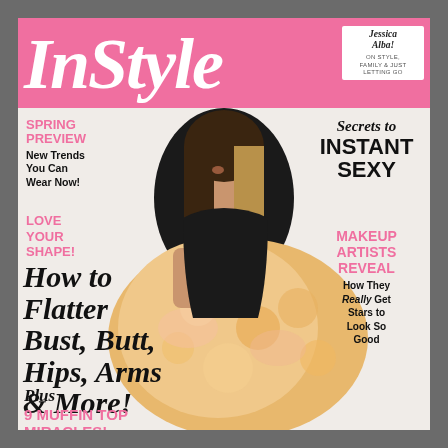InStyle
Jessica Alba! On style, family & just letting go
SPRING PREVIEW
New Trends You Can Wear Now!
Secrets to INSTANT SEXY
LOVE YOUR SHAPE!
How to Flatter Bust, Butt, Hips, Arms & More!
MAKEUP ARTISTS REVEAL
How They Really Get Stars to Look So Good
Plus 9 MUFFIN TOP MIRACLES!
[Figure (photo): Magazine cover of InStyle featuring Jessica Alba in a black sleeveless top and floral gold/pink full skirt, smiling with long ombre hair]